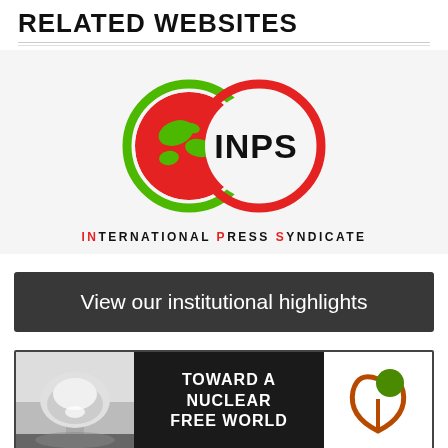RELATED WEBSITES
[Figure (logo): INPS International Press Syndicate logo — two overlapping circle outlines (green and red) with a red globe on the left, the letters INPS on the right, and the tagline INTERNATIONAL PRESS SYNDICATE below]
[Figure (infographic): Dark grey banner reading 'View our institutional highlights' in white text]
[Figure (infographic): Dark banner with a nuclear mushroom cloud photo on the left, text 'TOWARD A NUCLEAR FREE WORLD' in the center, and a circular green/brown sprout logo on the right]